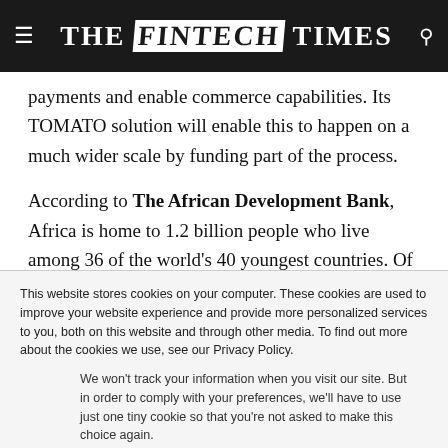THE FINTECH TIMES
payments and enable commerce capabilities. Its TOMATO solution will enable this to happen on a much wider scale by funding part of the process.
According to The African Development Bank, Africa is home to 1.2 billion people who live among 36 of the world's 40 youngest countries. Of this figure: 420 million are aged
This website stores cookies on your computer. These cookies are used to improve your website experience and provide more personalized services to you, both on this website and through other media. To find out more about the cookies we use, see our Privacy Policy.
We won't track your information when you visit our site. But in order to comply with your preferences, we'll have to use just one tiny cookie so that you're not asked to make this choice again.